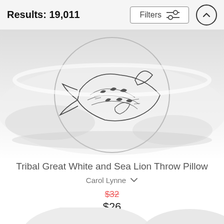Results: 19,011
[Figure (screenshot): Filters button with sliders icon and an up-arrow circle button in the top navigation bar]
[Figure (photo): A decorative throw pillow featuring a tribal great white shark and sea lion black and white illustration, shown at an angle with the pillow edges visible]
Tribal Great White and Sea Lion Throw Pillow
Carol Lynne
$32
$26
[Figure (photo): Bottom portion of a second product pillow partially visible, white background]